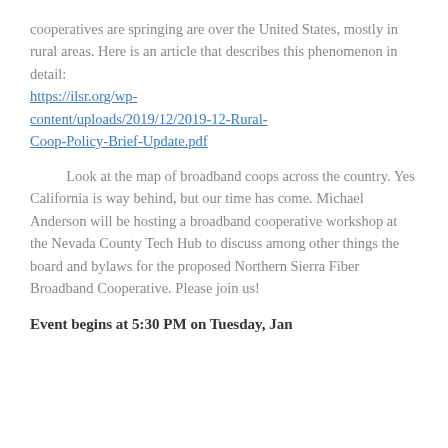cooperatives are springing are over the United States, mostly in rural areas. Here is an article that describes this phenomenon in detail:
https://ilsr.org/wp-content/uploads/2019/12/2019-12-Rural-Coop-Policy-Brief-Update.pdf
Look at the map of broadband coops across the country. Yes California is way behind, but our time has come. Michael Anderson will be hosting a broadband cooperative workshop at the Nevada County Tech Hub to discuss among other things the board and bylaws for the proposed Northern Sierra Fiber Broadband Cooperative. Please join us!
Event begins at 5:30 PM on Tuesday, Jan